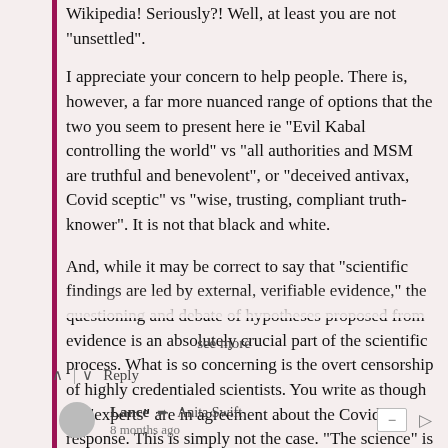Wikipedia! Seriously?! Well, at least you are not "unsettled".

I appreciate your concern to help people. There is, however, a far more nuanced range of options that the two you seem to present here ie "Evil Kabal controlling the world" vs "all authorities and MSM are truthful and benevolent", or "deceived antivax, Covid sceptic" vs "wise, trusting, compliant truth-knower". It is not that black and white.

And, while it may be correct to say that "scientific findings are led by external, verifiable evidence," the questioning and debate of hypotheses proposed from evidence is an absolutely crucial part of the scientific process. What is so concerning is the overt censorship of highly credentialed scientists. You write as though all "experts" are in agreement about the Covid response. This is simply not the case. "The science" is by no means "settled" and
see more
^ | v  Reply
Lance → Anita Swift
8 months ago